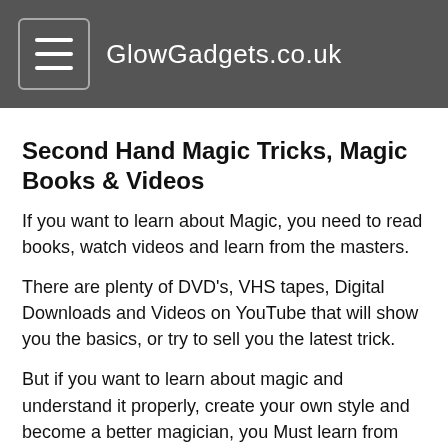GlowGadgets.co.uk
Second Hand Magic Tricks, Magic Books & Videos
If you want to learn about Magic, you need to read books, watch videos and learn from the masters.
There are plenty of DVD's, VHS tapes, Digital Downloads and Videos on YouTube that will show you the basics, or try to sell you the latest trick.
But if you want to learn about magic and understand it properly, create your own style and become a better magician, you Must learn from Books aswell as DVD's or shop bought tricks.
The latest Magic Tricks are all based on solid principles, all of which are found in Books about Magic.
I also Buy Magic Books and Tricks, so contact me if you have a lot to